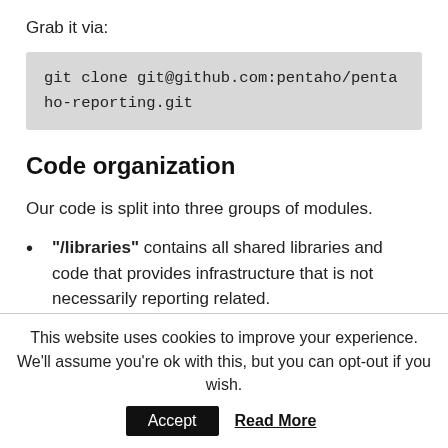Grab it via:
git clone git@github.com:pentaho/pentaho-reporting.git
Code organization
Our code is split into three groups of modules.
"/libraries" contains all shared libraries and code that provides infrastructure that is not necessarily reporting related.
"/engine" contains the runtime code for Pentaho Reporting. If you want to embed our reporting engine
This website uses cookies to improve your experience. We'll assume you're ok with this, but you can opt-out if you wish.
Accept   Read More